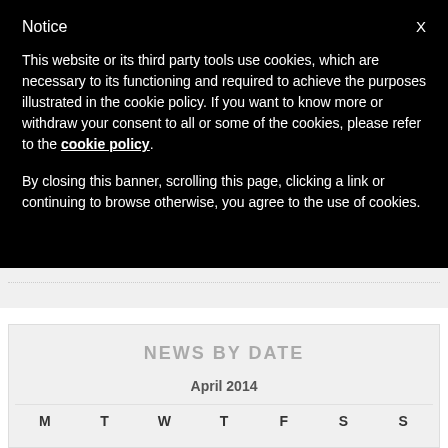Notice
This website or its third party tools use cookies, which are necessary to its functioning and required to achieve the purposes illustrated in the cookie policy. If you want to know more or withdraw your consent to all or some of the cookies, please refer to the cookie policy.
By closing this banner, scrolling this page, clicking a link or continuing to browse otherwise, you agree to the use of cookies.
NEWS BY DATE
April 2014
| M | T | W | T | F | S | S |
| --- | --- | --- | --- | --- | --- | --- |